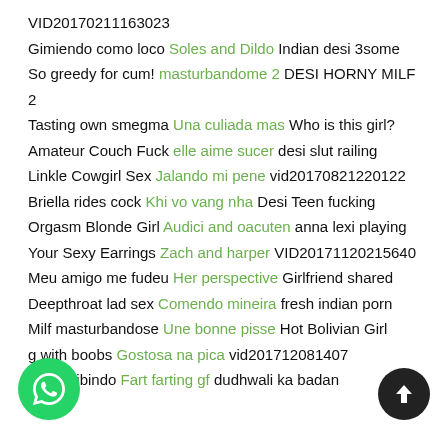VID20170211163023
Gimiendo como loco Soles and Dildo Indian desi 3some
So greedy for cum! masturbandome 2 DESI HORNY MILF 2
Tasting own smegma Una culiada mas Who is this girl?
Amateur Couch Fuck elle aime sucer desi slut railing
Linkle Cowgirl Sex Jalando mi pene vid20170821220122
Briella rides cock Khi vo vang nha Desi Teen fucking
Orgasm Blonde Girl Audici and oacuten anna lexi playing
Your Sexy Earrings Zach and harper VID20171120215640
Meu amigo me fudeu Her perspective Girlfriend shared
Deepthroat lad sex Comendo mineira fresh indian porn
Milf masturbandose Une bonne pisse Hot Bolivian Girl
g with boobs Gostosa na pica vid201712081407
a se exibindo Fart farting gf dudhwali ka badan
BBC ...